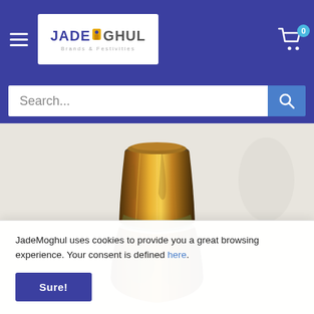[Figure (screenshot): JadeMoghul website header with blue background, hamburger menu icon on left, JadeMoghul logo in white box in center, and shopping cart icon with badge showing 0 on right]
[Figure (screenshot): Search bar with white input field showing 'Search...' placeholder text and blue search button with magnifying glass icon, on blue background]
[Figure (photo): Close-up photo of a decorative vase neck with gold and bronze glaze finish, with green and brown earthy tones]
JadeMoghul uses cookies to provide you a great browsing experience. Your consent is defined here.
Sure!